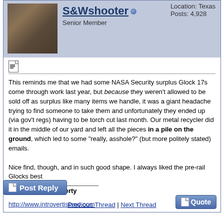Location: Texas
Posts: 4,928
S&Wshooter
Senior Member
This reminds me that we had some NASA Security surplus Glock 17s come through work last year, but because they weren't allowed to be sold off as surplus like many items we handle, it was a giant headache trying to find someone to take them and unfortunately they ended up (via gov't regs) having to be torch cut last month. Our metal recycler did it in the middle of our yard and left all the pieces in a pile on the ground, which led to some "really, asshole?" (but more politely stated) emails.

Nice find, though, and in such good shape. I always liked the pre-rail Glocks best
Get off of my property
http://www.introvertisland.com
Quote
Post Reply
Previous Thread | Next Thread